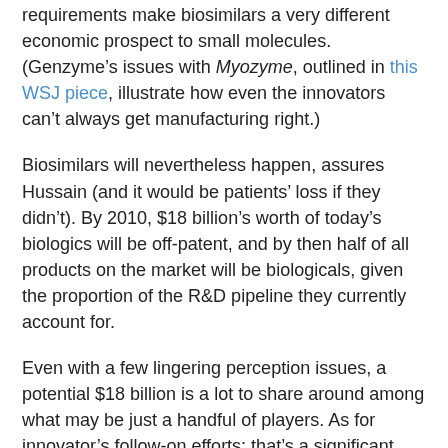requirements make biosimilars a very different economic prospect to small molecules. (Genzyme's issues with Myozyme, outlined in this WSJ piece, illustrate how even the innovators can't always get manufacturing right.)
Biosimilars will nevertheless happen, assures Hussain (and it would be patients' loss if they didn't). By 2010, $18 billion's worth of today's biologics will be off-patent, and by then half of all products on the market will be biologicals, given the proportion of the R&D pipeline they currently account for.
Even with a few lingering perception issues, a potential $18 billion is a lot to share around among what may be just a handful of players. As for innovator's follow-on efforts: that's a significant competitive tool for originator firms, admits Hussain. “But the cycle will continue,” he adds. “We’ll copy them, too.”
Melanie Senior at 8:40 AM